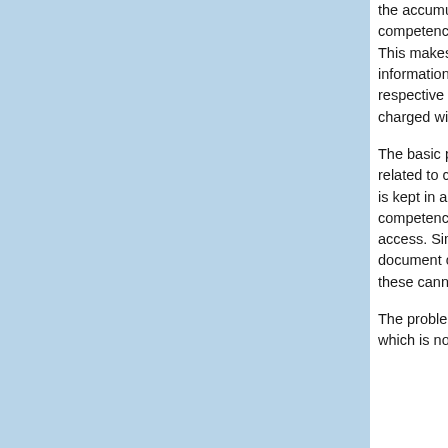[Figure (other): Light blue decorative rectangle filling the left portion of the page]
the accumulation and structuring of which is within the competence of the state body, is held in its archives. This makes it easier for those exercising the right of information to identify the desired document, the respective administration - to grant it, and the organ charged with control - to decide the legal argument.
The basic problem with the approach of “information related to competence” is that if an item of information is kept in an archive and is not “related to competence”, it cannot be subject of the right of access. Similarly, if copies of one and the same document can be found in more than one archive, these cannot be requested of all these places.
The problem with requirements for granting information which is not held